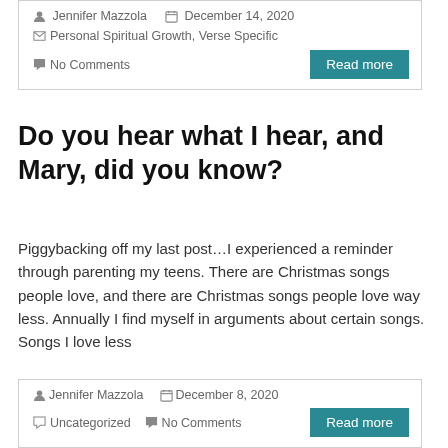Jennifer Mazzola   December 14, 2020
Personal Spiritual Growth, Verse Specific
No Comments
Read more
Do you hear what I hear, and Mary, did you know?
Piggybacking off my last post…I experienced a reminder through parenting my teens. There are Christmas songs people love, and there are Christmas songs people love way less. Annually I find myself in arguments about certain songs. Songs I love less
Jennifer Mazzola   December 8, 2020
Uncategorized   No Comments
Read more